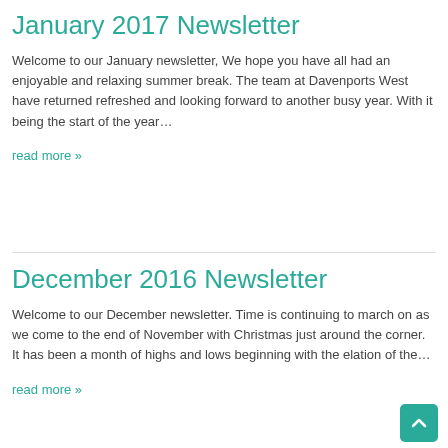January 2017 Newsletter
Welcome to our January newsletter, We hope you have all had an enjoyable and relaxing summer break. The team at Davenports West have returned refreshed and looking forward to another busy year. With it being the start of the year…
read more »
December 2016 Newsletter
Welcome to our December newsletter. Time is continuing to march on as we come to the end of November with Christmas just around the corner. It has been a month of highs and lows beginning with the elation of the…
read more »